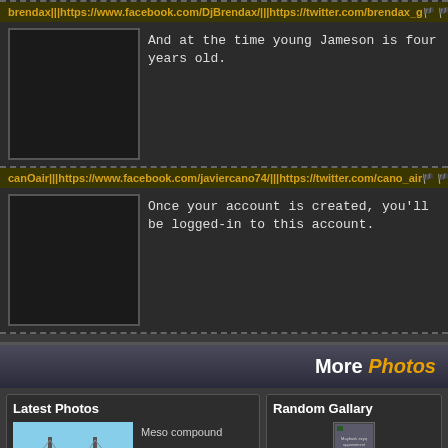brendax|||https://www.facebook.com/DjBrendax/|||https://twitter.com/brendax_g
Reply | Quote
[Figure (photo): User avatar placeholder image]
And at the time young Jameson is four years old.
canOair|||https://www.facebook.com/javiercano74/|||https://twitter.com/cano_air
Reply | Quote
[Figure (photo): User avatar placeholder image]
Once your account is created, you'll be logged-in to this account.
More Photos
Latest Photos
[Figure (photo): Bridge photo at sunset/dusk with tall towers]
Meso compound
Random Gallary
[Figure (photo): Maybank ezyq appointment thumbnail]
Maybank ezyq appointment